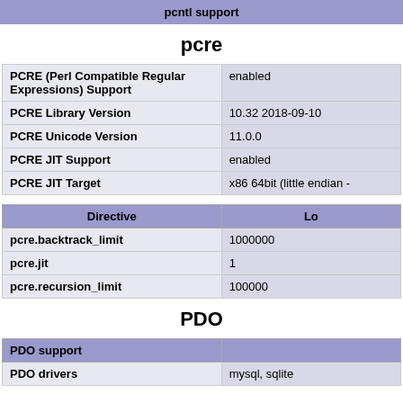pcntl support
pcre
|  |  |
| --- | --- |
| PCRE (Perl Compatible Regular Expressions) Support | enabled |
| PCRE Library Version | 10.32 2018-09-10 |
| PCRE Unicode Version | 11.0.0 |
| PCRE JIT Support | enabled |
| PCRE JIT Target | x86 64bit (little endian - |
| Directive | Lo |
| --- | --- |
| pcre.backtrack_limit | 1000000 |
| pcre.jit | 1 |
| pcre.recursion_limit | 100000 |
PDO
| PDO support |  |
| --- | --- |
| PDO drivers | mysql, sqlite |